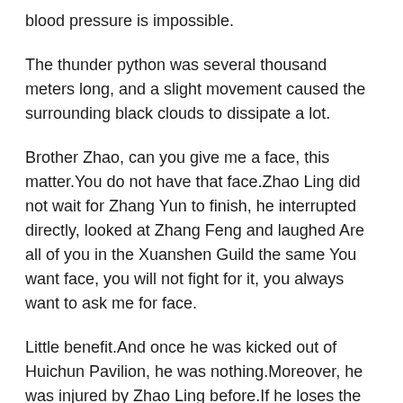blood pressure is impossible.
The thunder python was several thousand meters long, and a slight movement caused the surrounding black clouds to dissipate a lot.
Brother Zhao, can you give me a face, this matter.You do not have that face.Zhao Ling did not wait for Zhang Yun to finish, he interrupted directly, looked at Zhang Feng and laughed Are all of you in the Xuanshen Guild the same You want face, you will not fight for it, you always want to ask me for face.
Little benefit.And once he was kicked out of Huichun Pavilion, he was nothing.Moreover, he was injured by Zhao Ling before.If he loses the protection of Huichun Pavilion, his future life will be extremely difficult.Old Shi, get him away.Ye Yunhan squinted and said indifferently.With a cold face, Elder Shi came to Steward Song and said in a low voice, Go best medicine to